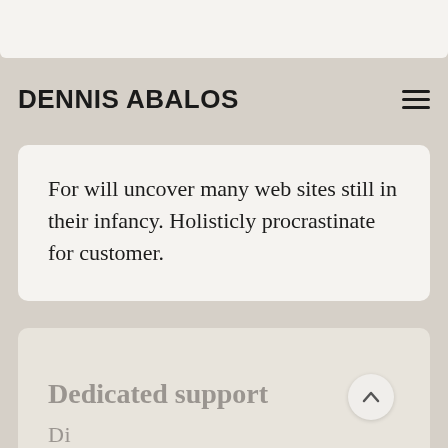DENNIS ABALOS
For will uncover many web sites still in their infancy. Holisticly procrastinate for customer.
Dedicated support